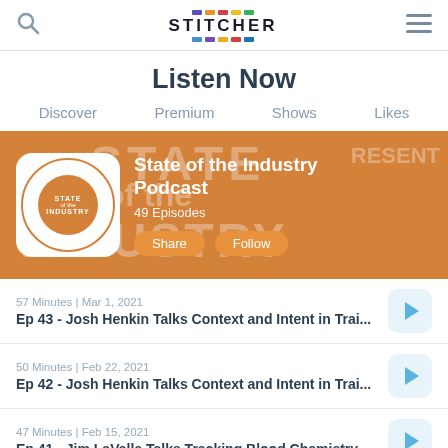Stitcher
Listen Now
Discover  Premium  Shows  Likes
[Figure (screenshot): State of the Industry Podcast banner on Stitcher app. Orange background with podcast logo, title 'State of the Industry Podcast', '49 Episodes', Share and Follow buttons.]
57 Minutes | Mar 1, 2021
Ep 43 - Josh Henkin Talks Context and Intent in Trai...
50 Minutes | Feb 22, 2021
Ep 42 - Josh Henkin Talks Context and Intent in Trai...
47 Minutes | Feb 15, 2021
Ep 41 - Jim LaValle Talks Tracking Blood Chemistry ...
56 Minutes | Feb 8, 2021